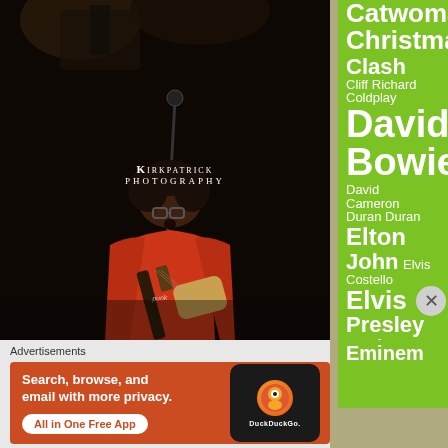[Figure (photo): Concert photo of a male guitarist/vocalist performing on stage, singing into a microphone while playing electric guitar. He has curly dark hair and wears a red t-shirt. The photo has a 'Kirkpatrick Photography' watermark. Dark concert lighting with drum kit visible in background.]
[Figure (infographic): Green sidebar panel with white text listing music artist names in varied font sizes forming a tag cloud: Catwoman, Christmas, Clash, Cliff Richard, Coldplay, David Bowie (large), David Cameron, Duran Duran, Elton John (large), Elvis Costello, Elvis Presley (large), Eminem]
Advertisements
[Figure (screenshot): DuckDuckGo advertisement banner with orange background. Text: 'Search, browse, and email with more privacy. All in One Free App'. Shows a smartphone with DuckDuckGo app logo and branding.]